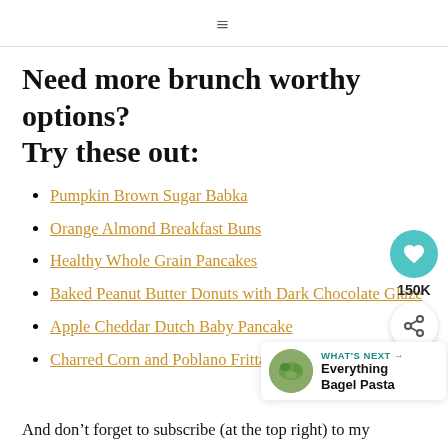≡
Need more brunch worthy options? Try these out:
Pumpkin Brown Sugar Babka
Orange Almond Breakfast Buns
Healthy Whole Grain Pancakes
Baked Peanut Butter Donuts with Dark Chocolate Glaze
Apple Cheddar Dutch Baby Pancake
Charred Corn and Poblano Frittata
[Figure (infographic): Heart/like button showing 150K, and a share button below it — floating widget on the right side]
[Figure (infographic): What's Next banner with food image thumbnail and text 'Everything Bagel Pasta']
And don't forget to subscribe (at the top right) to my